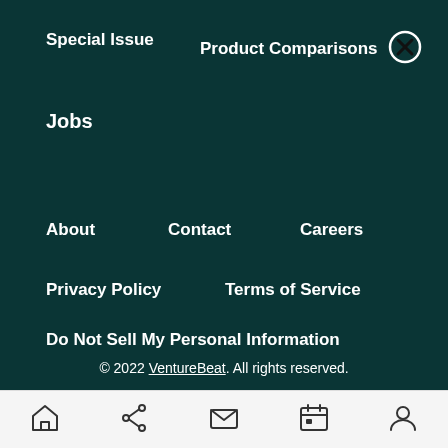Special Issue
Product Comparisons
Jobs
About
Contact
Careers
Privacy Policy
Terms of Service
Do Not Sell My Personal Information
© 2022 VentureBeat. All rights reserved.
[Figure (infographic): Mobile navigation bottom bar with home, share, mail, calendar, and profile icons]